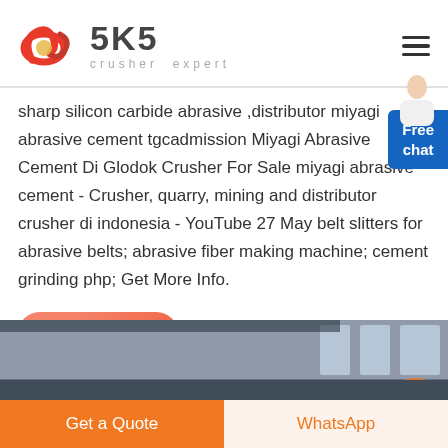[Figure (logo): SKS Crusher Expert logo with red circular symbol and SKS text with 'crusher expert' tagline]
sharp silicon carbide abrasive ,distributor miyagi abrasive cement tgcadmission Miyagi Abrasive Cement Di Glodok Crusher For Sale miyagi abrasive cement - Crusher, quarry, mining and distributor crusher di indonesia - YouTube 27 May belt slitters for abrasive belts; abrasive fiber making machine; cement grinding php; Get More Info.
[Figure (infographic): Free chat button overlay on top right with person illustration]
[Figure (photo): Live chat button and partial photo strip at bottom showing industrial/machinery scene]
[Figure (other): Bottom navigation bar with Get a Quote and WhatsApp buttons]